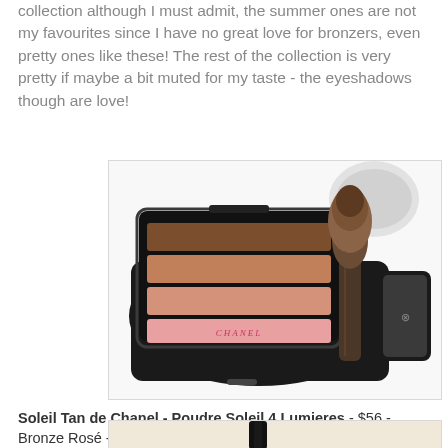collection although I must admit, the summer ones are not my favourites since I have no great love for bronzers, even pretty ones like these! The rest of the collection is very pretty if maybe a bit muted for my taste - the eyeshadows though are love!
[Figure (photo): Chanel Soleil Tan de Chanel Poudre Soleil 4 Lumieres compact with brush - an open black compact showing 4 horizontal stripes of powder in shades of brown, coral, and pink with Chanel branding, alongside a large makeup brush]
Soleil Tan de Chanel - Poudre Soleil 4 Lumieres - $56 - Bronze Rosé - for fair skin tones and Bronze Corail - for warm tones of olive and tanned skin
[Figure (photo): Partial image of a Chanel product with black handle/packaging against a beige/skin-toned background]